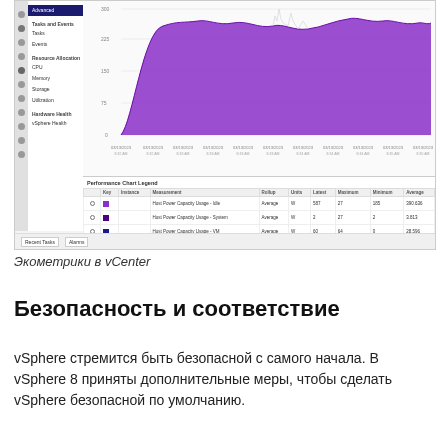[Figure (screenshot): vCenter performance monitoring interface showing a sidebar with navigation items (Tasks and Events, Resource Allocation, Hardware Health, vSphere Health) and a large area chart displaying power capacity usage over time in purple/violet color. Below the chart is a Performance Chart Legend table with columns for Key, Instance, Measurement, Rollup, Units, Latest, Maximum, Minimum, Average. Three rows show Host Power Capacity Usage metrics.]
Экометрики в vCenter
Безопасность и соответствие
vSphere стремится быть безопасной с самого начала. В vSphere 8 приняты дополнительные меры, чтобы сделать vSphere безопасной по умолчанию.